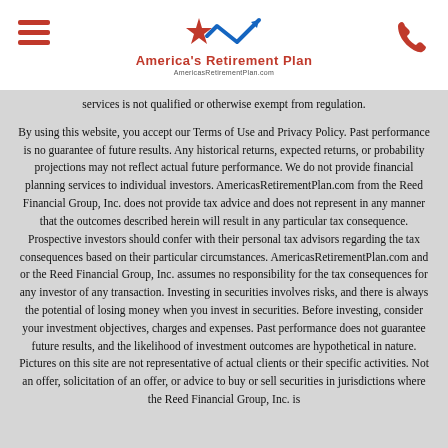America's Retirement Plan — AmericasRetirementPlan.com
services is not qualified or otherwise exempt from regulation.
By using this website, you accept our Terms of Use and Privacy Policy. Past performance is no guarantee of future results. Any historical returns, expected returns, or probability projections may not reflect actual future performance. We do not provide financial planning services to individual investors. AmericasRetirementPlan.com from the Reed Financial Group, Inc. does not provide tax advice and does not represent in any manner that the outcomes described herein will result in any particular tax consequence. Prospective investors should confer with their personal tax advisors regarding the tax consequences based on their particular circumstances. AmericasRetirementPlan.com and or the Reed Financial Group, Inc. assumes no responsibility for the tax consequences for any investor of any transaction. Investing in securities involves risks, and there is always the potential of losing money when you invest in securities. Before investing, consider your investment objectives, charges and expenses. Past performance does not guarantee future results, and the likelihood of investment outcomes are hypothetical in nature. Pictures on this site are not representative of actual clients or their specific activities. Not an offer, solicitation of an offer, or advice to buy or sell securities in jurisdictions where the Reed Financial Group, Inc. is